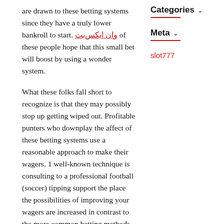are drawn to these betting systems since they have a truly lower bankroll to start. وان ایکس‌بت of these people hope that this small bet will boost by using a wonder system.

What these folks fall short to recognize is that they may possibly stop up getting wiped out. Profitable punters who downplay the affect of these betting systems use a reasonable approach to make their wagers. 1 well-known technique is consulting to a professional football (soccer) tipping support the place the possibilities of improving your wagers are increased in contrast to the more common betting methods.

This football tipping service allows you get treatment of your funds. This support makes it possible for you to make use of sound approaches with the aid of experts. These experts will make certain that you get only
Categories
Meta
slot777